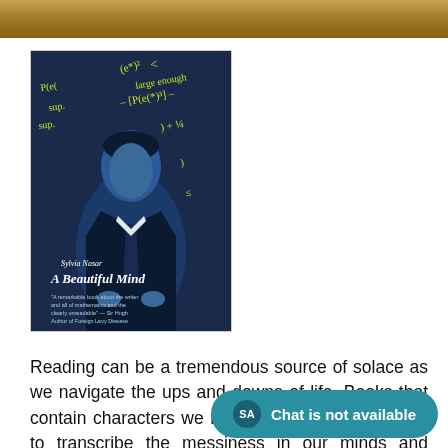[Figure (photo): A decorative brown/golden top bar suggesting a wooden surface or book spine]
[Figure (photo): Book cover of 'A Beautiful Mind' by Sylvia Nasar, showing a man in a suit against a dark blue background with mathematical equations in yellow/green]
Reading can be a tremendous source of solace as we navigate the ups and downs of life. Books that contain characters we relate to can provide a way to transcribe the messiness in our minds and understand other people's emotions. Mental illness can sometimes the concentration required to read, but these nine